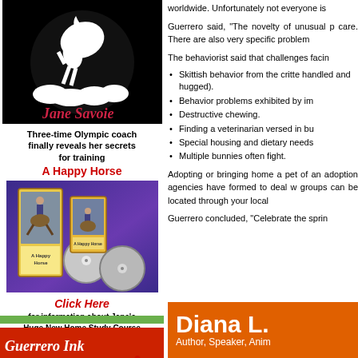[Figure (illustration): Jane Savoie advertisement with horse logo on black background, product photo, red click here link text]
Three-time Olympic coach finally reveals her secrets for training
A Happy Horse
Click Here
for information about Jane's Huge New Home Study Course
[Figure (illustration): Guerrero Ink Freelance Writing Services advertisement with red background and white text]
worldwide. Unfortunately not everyone is
Guerrero said, "The novelty of unusual p care. There are also very specific problem
The behaviorist said that challenges facin
Skittish behavior from the critte handled and hugged).
Behavior problems exhibited by im
Destructive chewing.
Finding a veterinarian versed in bu
Special housing and dietary needs
Multiple bunnies often fight.
Adopting or bringing home a pet of an adoption agencies have formed to deal w groups can be located through your local
Guerrero concluded, "Celebrate the sprin
[Figure (illustration): Diana L. advertisement with orange background showing name and subtitle Author, Speaker, Anim]